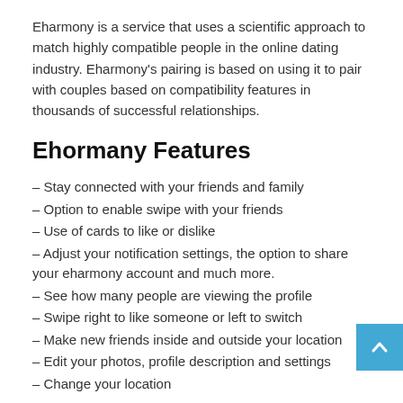Eharmony is a service that uses a scientific approach to match highly compatible people in the online dating industry. Eharmony's pairing is based on using it to pair with couples based on compatibility features in thousands of successful relationships.
Ehormany Features
– Stay connected with your friends and family
– Option to enable swipe with your friends
– Use of cards to like or dislike
– Adjust your notification settings, the option to share your eharmony account and much more.
– See how many people are viewing the profile
– Swipe right to like someone or left to switch
– Make new friends inside and outside your location
– Edit your photos, profile description and settings
– Change your location